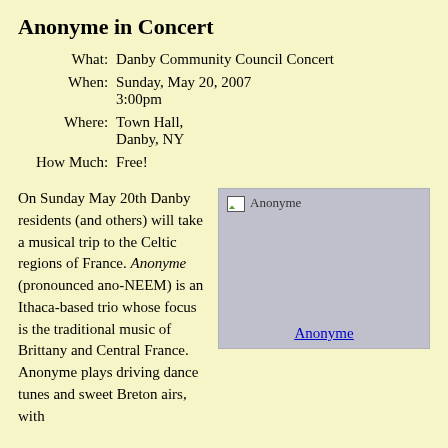Anonyme in Concert
| What: | Danby Community Council Concert |
| When: | Sunday, May 20, 2007
3:00pm |
| Where: | Town Hall,
Danby, NY |
| How Much: | Free! |
On Sunday May 20th Danby residents (and others) will take a musical trip to the Celtic regions of France. Anonyme (pronounced ano-NEEM) is an Ithaca-based trio whose focus is the traditional music of Brittany and Central France. Anonyme plays driving dance tunes and sweet Breton airs, with
[Figure (photo): Broken image placeholder for Anonyme photo]
Anonyme